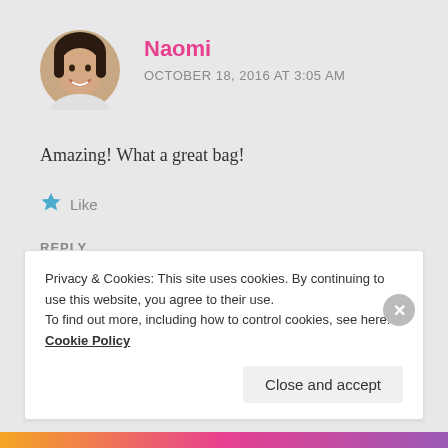[Figure (photo): Circular avatar photo of a woman with short dark hair, smiling]
Naomi
OCTOBER 18, 2016 AT 3:05 AM
Amazing! What a great bag!
★ Like
REPLY
Privacy & Cookies: This site uses cookies. By continuing to use this website, you agree to their use.
To find out more, including how to control cookies, see here: Cookie Policy
Close and accept